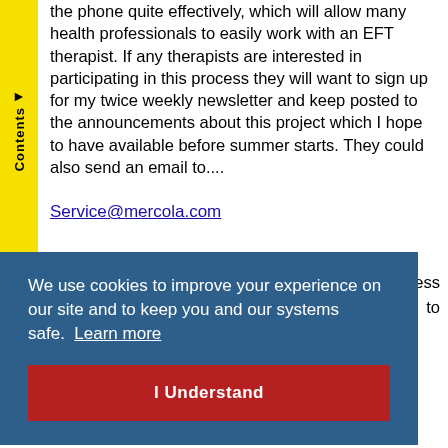the phone quite effectively, which will allow many health professionals to easily work with an EFT therapist. If any therapists are interested in participating in this process they will want to sign up for my twice weekly newsletter and keep posted to the announcements about this project which I hope to have available before summer starts. They could also send an email to....
Service@mercola.com
...rocess to
We use cookies to improve your experience on our site and to keep you and your systems safe.  Learn more
I Understand